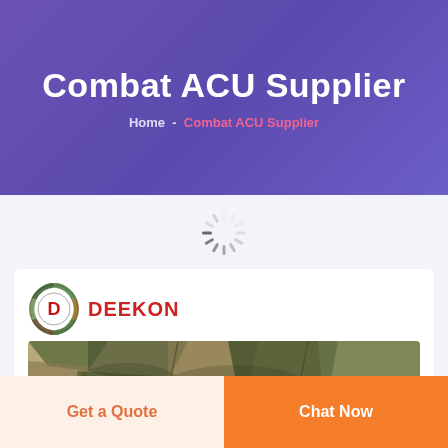Combat ACU Supplier
Home - Combat ACU Supplier
[Figure (logo): DEEKON logo with circular camouflage-pattern emblem and red D letter, with DEEKON text in red below]
[Figure (photo): Combat ACU military uniform/gear folded in camouflage pattern]
Get a Quote
Chat Now